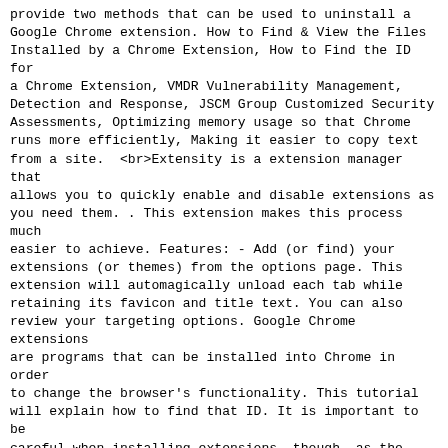provide two methods that can be used to uninstall a Google Chrome extension. How to Find & View the Files Installed by a Chrome Extension, How to Find the ID for a Chrome Extension, VMDR Vulnerability Management, Detection and Response, JSCM Group Customized Security Assessments, Optimizing memory usage so that Chrome runs more efficiently, Making it easier to copy text from a site.  <br>Extensity is a extension manager that allows you to quickly enable and disable extensions as you need them. . This extension makes this process much easier to achieve. Features: - Add (or find) your extensions (or themes) from the options page. This extension will automagically unload each tab while retaining its favicon and title text. You can also review your targeting options. Google Chrome extensions are programs that can be installed into Chrome in order to change the browser's functionality. This tutorial will explain how to find that ID. It is important to be careful when installing extensions, though, as the more extensions you install the more memory Chrome will use on your computer. This extension provides an automatically updated overview of your Chrome extensions (and themes). No SPAM, though, as that will be deleted. In this article you will learn how to locate the folder containing your extensions. How do you use a Google Chrome Extension? Windows 7 hides certain files so that they are not able to be seen when you exploring the files on your computer. A tab can be restored by clicking anywhere on the page when it is needed. To use the store, simply search for an